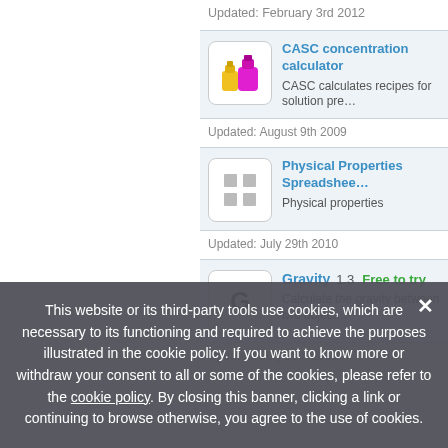Updated: February 3rd 2012
CASC concentration calculator
CASC calculates recipes for solution pre…
Updated: August 9th 2009
Physical Properties Spreadsheet
Physical properties
Updated: July 29th 2010
Gravity  1.3  Free to try
Calculate the gravity between two object…
Updated: July 25th 2010
This website or its third-party tools use cookies, which are necessary to its functioning and required to achieve the purposes illustrated in the cookie policy. If you want to know more or withdraw your consent to all or some of the cookies, please refer to the cookie policy. By closing this banner, clicking a link or continuing to browse otherwise, you agree to the use of cookies.